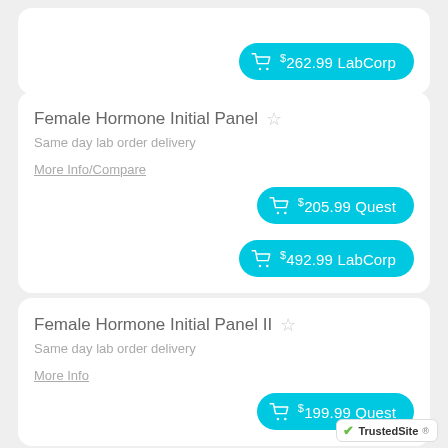$262.99 LabCorp
Female Hormone Initial Panel
Same day lab order delivery
More Info/Compare
$205.99 Quest
$492.99 LabCorp
Female Hormone Initial Panel II
Same day lab order delivery
More Info
$199.99 Quest
TrustedSite